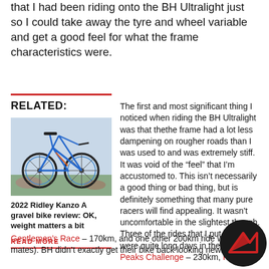that I had been riding onto the BH Ultralight just so I could take away the tyre and wheel variable and get a good feel for what the frame characteristics were.
RELATED:
[Figure (photo): Photo of a blue road/gravel bike outdoors]
2022 Ridley Kanzo A gravel bike review: OK, weight matters a bit
READ MORE
The first and most significant thing I noticed when riding the BH Ultralight was that thethe frame had a lot less dampening on rougher roads than I was used to and was extremely stiff. It was void of the “feel” that I’m accustomed to. This isn’t necessarily a good thing or bad thing, but is definitely something that many pure racers will find appealing. It wasn’t uncomfortable in the slightest though. Three of the rides that I put it through were quite long days in the saddle (3 Peaks Challenge – 230km, Rapha Gentlemen’s Race – 170km, and one other 200km ride with some mates). BH didn’t exactly get their bike back looking new...
[Figure (logo): Cycling publication logo: dark circle with red mountain/chevron mark]